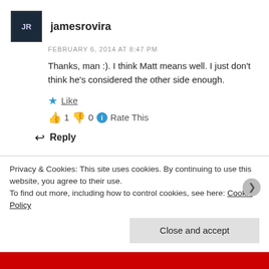jamesrovira
FEBRUARY 6, 2014 AT 8:47 PM
Thanks, man :). I think Matt means well. I just don't think he's considered the other side enough.
★ Like
👍 1  👎 0  ℹ Rate This
↩ Reply
Privacy & Cookies: This site uses cookies. By continuing to use this website, you agree to their use.
To find out more, including how to control cookies, see here: Cookie Policy
Close and accept